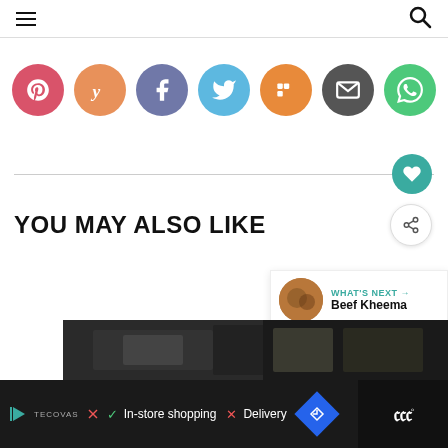Navigation header with hamburger menu and search icon
[Figure (infographic): Row of 7 circular social share buttons: Pinterest (red-pink), Yummly (peach/orange), Facebook (muted blue-purple), Twitter (light blue), Mix (orange), Email (dark gray), WhatsApp (green)]
[Figure (infographic): Horizontal divider line with teal heart/like button on right end, and a white share button below it]
YOU MAY ALSO LIKE
[Figure (infographic): What's Next panel showing a food image thumbnail (Beef Kheema) with teal label 'WHAT'S NEXT →' and bold title 'Beef Kheema']
[Figure (photo): Dark food photography thumbnail strip at bottom of page]
[Figure (infographic): Advertisement bar at bottom: Tecovas logo, checkmark 'In-store shopping', X 'Delivery', blue diamond navigation icon, and a dark right panel with stylized 'W' logo]